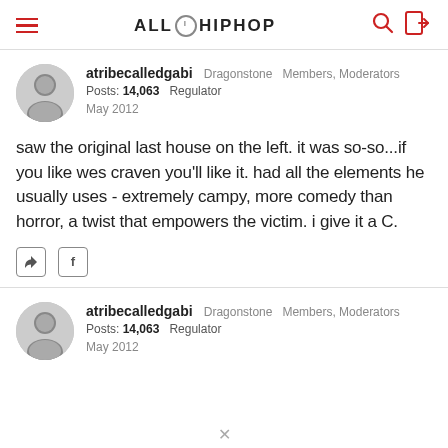ALL HIP HOP
atribecalledgabi  Dragonstone  Members, Moderators
Posts: 14,063  Regulator
May 2012
saw the original last house on the left. it was so-so...if you like wes craven you'll like it. had all the elements he usually uses - extremely campy, more comedy than horror, a twist that empowers the victim. i give it a C.
atribecalledgabi  Dragonstone  Members, Moderators
Posts: 14,063  Regulator
May 2012